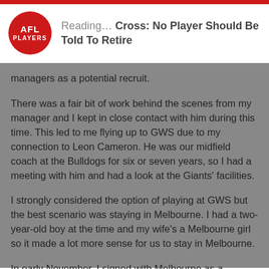Reading… Cross: No Player Should Be Told To Retire
managers as a potential recruit.
There was a fair bit of work behind the scenes from my manager and I kept in close contact with him during this time. This led to me flying up to GWS due to my connection to Leon Cameron. He was our midfield coach at the Bulldogs for six or seven years, so I had a meeting with him and had a look at the Giants' facilities.
I strongly considered the option of playing at GWS but the best scenario was staying in Melbourne. I had a two-year-old boy at the time and my wife's a Melbourne girl so it made a lot more sense for us to stay in Melbourne.
In early November, I signed with Melbourne as a delisted free agent. I was excited to extend my AFL career and was